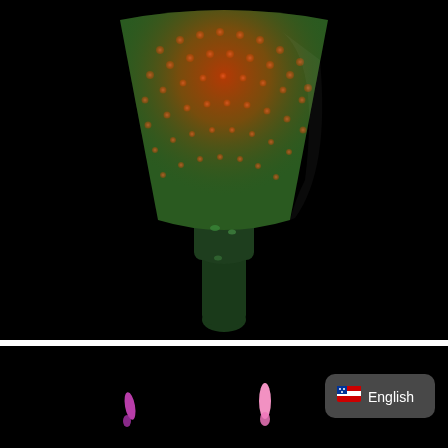[Figure (photo): Close-up photograph of a plant structure (likely a Sarracenia or similar pitcher plant) shown against a black background. The structure widens at the top showing a red-orange cap with dotted pattern, and a green mottled stem below, narrowing at the base. The image is lit to highlight the cup-like form with red and green coloration.]
[Figure (photo): Partial photograph on black background showing two small pink/purple fluorescent biological structures, likely small plant or organism specimens. A rounded dark UI element with a US flag icon and the text 'English' is overlaid in the lower right area of the image.]